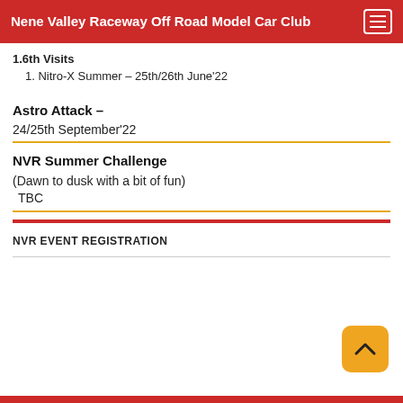Nene Valley Raceway Off Road Model Car Club
1.6th Visits
1. Nitro-X Summer – 25th/26th June'22
Astro Attack –
24/25th September'22
NVR Summer Challenge
(Dawn to dusk with a bit of fun)
TBC
NVR EVENT REGISTRATION